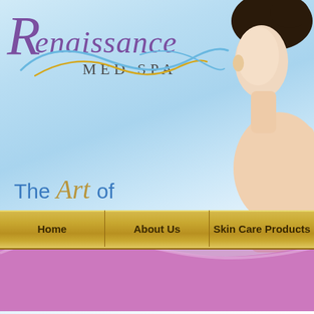[Figure (logo): Renaissance Med Spa logo with decorative purple script lettering and swirl design in blue and gold]
[Figure (photo): Woman's face and shoulder on right side of page, clean skin beauty photo]
The Art of Timeless Beauty
[Figure (infographic): Purple ribbon wave decorating bottom of page]
Home
About Us
Skin Care Products